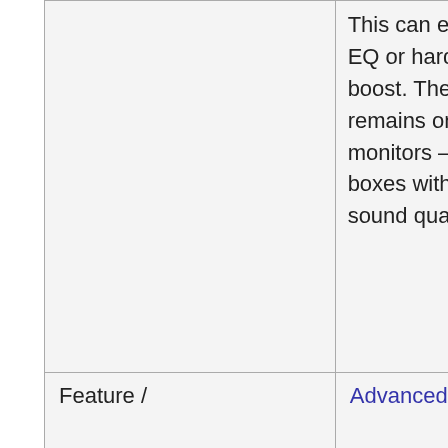|  | This can easily be fixed via EQ or hardware bass boost. The Curve still remains one of my favourite monitors – ticks so many boxes with comfort, overall sound quality and value. |  |
| Feature / | Advanced |  |
| --- | --- | --- |